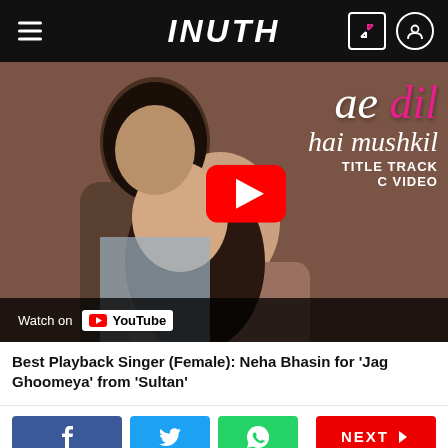INUTH
[Figure (screenshot): YouTube music video thumbnail for 'Ae Dil Hai Mushkil' Title Track featuring two actors in a romantic pose with YouTube play button overlay and 'Watch on YouTube' bar at bottom]
Best Playback Singer (Female): Neha Bhasin for 'Jag Ghoomeya' from 'Sultan'
[Figure (other): Social share buttons row: Facebook (blue), Twitter (blue), WhatsApp (green), and NEXT button (red)]